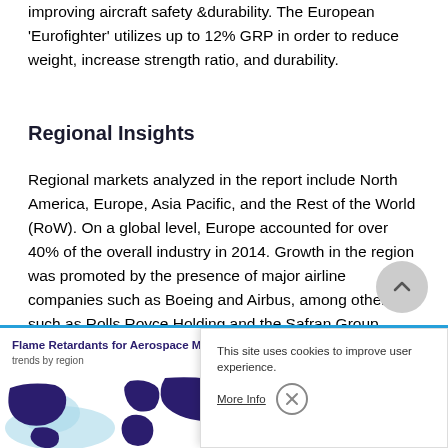improving aircraft safety &durability. The European 'Eurofighter' utilizes up to 12% GRP in order to reduce weight, increase strength ratio, and durability.
Regional Insights
Regional markets analyzed in the report include North America, Europe, Asia Pacific, and the Rest of the World (RoW). On a global level, Europe accounted for over 40% of the overall industry in 2014. Growth in the region was promoted by the presence of major airline companies such as Boeing and Airbus, among others such as Rolls Royce Holding and the Safran Group. However, the European airspace and manufacturing sectors are strictly monitored, leading to a decline in the production of halogenated retardants and challenging growth for other additives.
[Figure (map): Map showing Flame Retardants for Aerospace trends by region — partial view of world map with dark purple silhouettes of continents]
This site uses cookies to improve user experience.
More Info